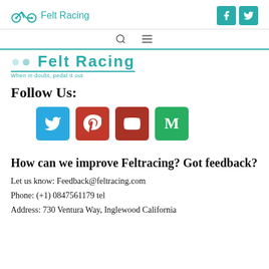Felt Racing
[Figure (logo): Felt Racing logo with bicycle icon and teal social media icons (Facebook, Twitter)]
[Figure (logo): Secondary Felt Racing logo with tagline: When in doubt, pedal it out]
Follow Us:
[Figure (infographic): Social media icons row: Twitter (blue), Pinterest (red), YouTube (dark red), Medium (green)]
How can we improve Feltracing? Got feedback?
Let us know: Feedback@feltracing.com
Phone: (+1) 0847561179 tel
Address: 730 Ventura Way, Inglewood California